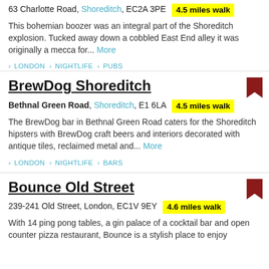63 Charlotte Road, Shoreditch, EC2A 3PE  4.5 miles walk
This bohemian boozer was an integral part of the Shoreditch explosion. Tucked away down a cobbled East End alley it was originally a mecca for... More
> LONDON > NIGHTLIFE > PUBS
BrewDog Shoreditch
Bethnal Green Road, Shoreditch, E1 6LA  4.5 miles walk
The BrewDog bar in Bethnal Green Road caters for the Shoreditch hipsters with BrewDog craft beers and interiors decorated with antique tiles, reclaimed metal and... More
> LONDON > NIGHTLIFE > BARS
Bounce Old Street
239-241 Old Street, London, EC1V 9EY  4.6 miles walk
With 14 ping pong tables, a gin palace of a cocktail bar and open counter pizza restaurant, Bounce is a stylish place to enjoy...